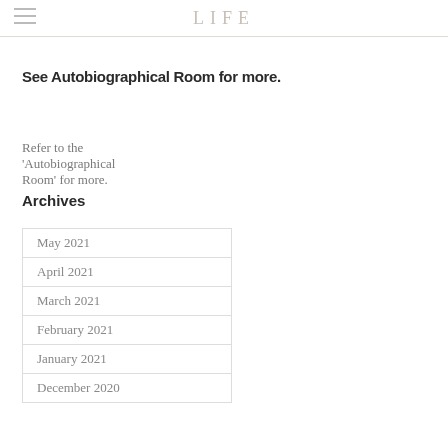LIFE
See Autobiographical Room for more.
Satira M. Quarles
Refer to the 'Autobiographical Room' for more.
Archives
May 2021
April 2021
March 2021
February 2021
January 2021
December 2020